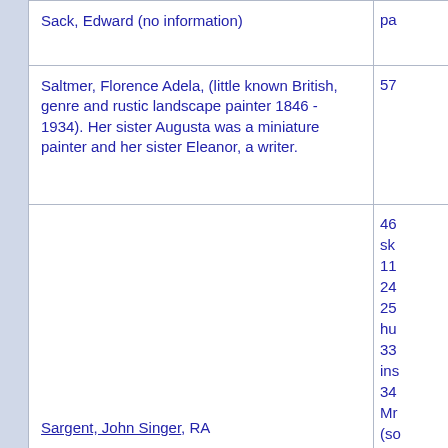| Name/Description | References |
| --- | --- |
| Sack, Edward (no information) | pa… |
| Saltmer, Florence Adela, (little known British, genre and rustic landscape painter 1846 - 1934). Her sister Augusta was a miniature painter and her sister Eleanor, a writer. | 57… |
| Sargent, John Singer, RA | 46 sk… 11… 24… 25 hu… 33 ins… 34 Mr… (so… |
| Schmutzler, Leopold (German 1864 - 1921) | 23… tab… |
| Shannon, James Jebusa, ARA | 37… |